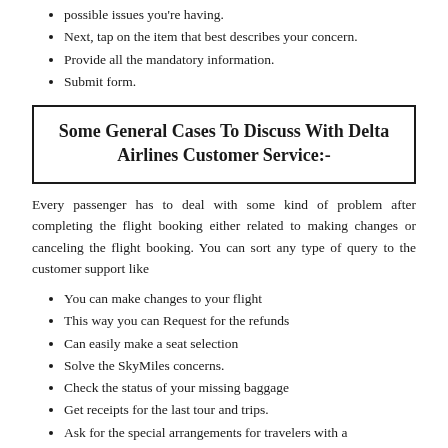possible issues you're having.
Next, tap on the item that best describes your concern.
Provide all the mandatory information.
Submit form.
Some General Cases To Discuss With Delta Airlines Customer Service:-
Every passenger has to deal with some kind of problem after completing the flight booking either related to making changes or canceling the flight booking. You can sort any type of query to the customer support like
You can make changes to your flight
This way you can Request for the refunds
Can easily make a seat selection
Solve the SkyMiles concerns.
Check the status of your missing baggage
Get receipts for the last tour and trips.
Ask for the special arrangements for travelers with a